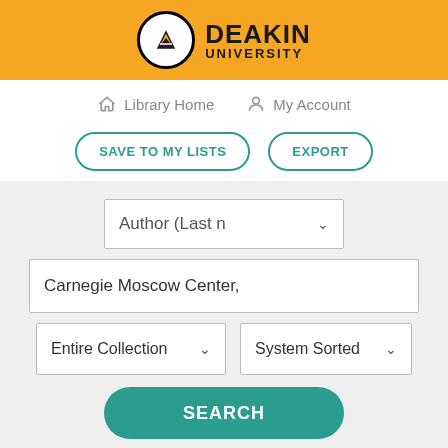[Figure (logo): Deakin University logo with orange header bar, white circle with shield icon, and 'DEAKIN UNIVERSITY' text]
Library Home
My Account
SAVE TO MY LISTS
EXPORT
Author (Last n
Carnegie Moscow Center,
Entire Collection
System Sorted
SEARCH
Limit search to available items